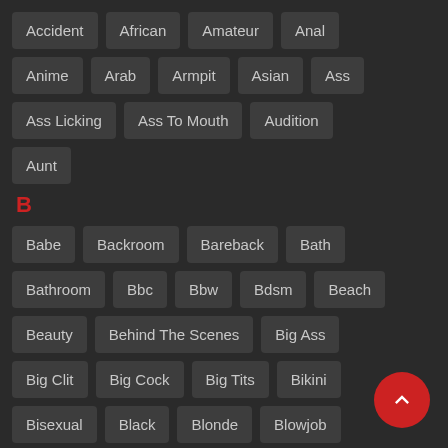Accident, African, Amateur, Anal
Anime, Arab, Armpit, Asian, Ass
Ass Licking, Ass To Mouth, Audition
Aunt
B
Babe, Backroom, Bareback, Bath
Bathroom, Bbc, Bbw, Bdsm, Beach
Beauty, Behind The Scenes, Big Ass
Big Clit, Big Cock, Big Tits, Bikini
Bisexual, Black, Blonde, Blowjob
Bondage, Boots, Bottle, Brazil